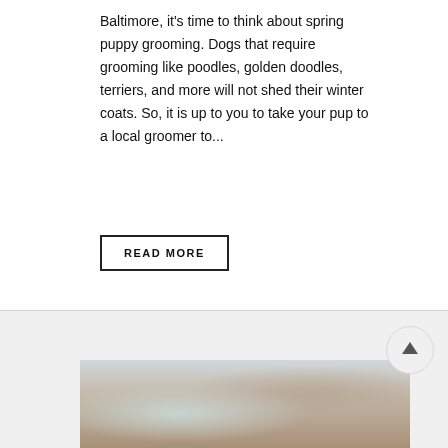Baltimore, it's time to think about spring puppy grooming. Dogs that require grooming like poodles, golden doodles, terriers, and more will not shed their winter coats. So, it is up to you to take your pup to a local groomer to...
READ MORE
[Figure (photo): A person grooming a small dog at a sink, with grooming supplies visible in the background.]